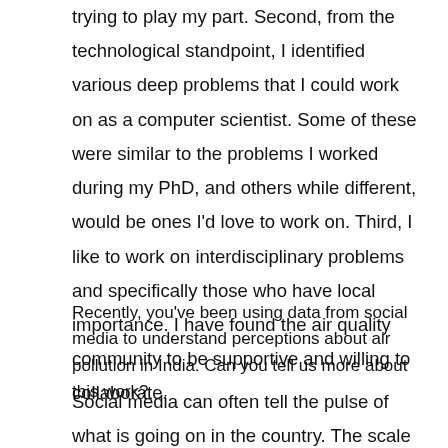trying to play my part. Second, from the technological standpoint, I identified various deep problems that I could work on as a computer scientist. Some of these were similar to the problems I worked during my PhD, and others while different, would be ones I'd love to work on. Third, I like to work on interdisciplinary problems and specifically those who have local importance. I have found the air quality community to be supportive and willing to collaborate.
Recently, you've been using data from social media to understand perceptions about air pollution in India. Can you tell us more about this work?
Social media can often tell the pulse of what is going on in the country. The scale is